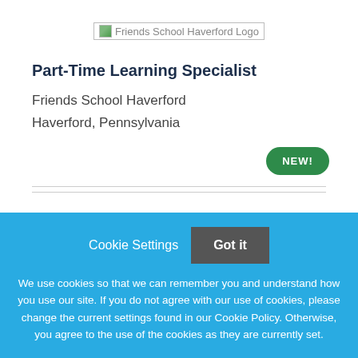[Figure (logo): Friends School Haverford Logo placeholder image]
Part-Time Learning Specialist
Friends School Haverford
Haverford, Pennsylvania
NEW!
Cookie Settings   Got it
We use cookies so that we can remember you and understand how you use our site. If you do not agree with our use of cookies, please change the current settings found in our Cookie Policy. Otherwise, you agree to the use of the cookies as they are currently set.